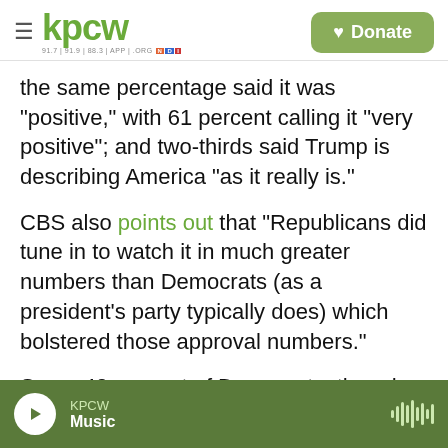kpcw | Donate
the same percentage said it was "positive," with 61 percent calling it "very positive"; and two-thirds said Trump is describing America "as it really is."
CBS also points out that "Republicans did tune in to watch it in much greater numbers than Democrats (as a president's party typically does) which bolstered those approval numbers."
Some 40 percent of Democrats, though, did also approve of the speech.
And perhaps the biggest accomplishment of the speech was the number who thought it was
KPCW Music